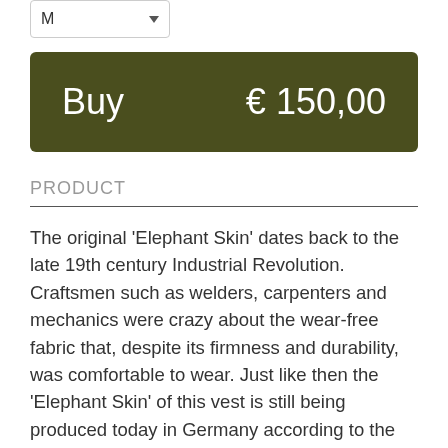[Figure (screenshot): Dropdown selector showing 'M' with a downward arrow, representing a size selector UI element]
Buy   € 150,00
PRODUCT
The original 'Elephant Skin' dates back to the late 19th century Industrial Revolution. Craftsmen such as welders, carpenters and mechanics were crazy about the wear-free fabric that, despite its firmness and durability, was comfortable to wear. Just like then the 'Elephant Skin' of this vest is still being produced today in Germany according to the exact same 'recipe' that was used a 100 years ago. These ingredients still result in a very authentic line of workwear capable of weathering any type of storm. Even though the vest is made of cotton (100%) it still feels surprisingly much like leather and manages to contain exactly those...